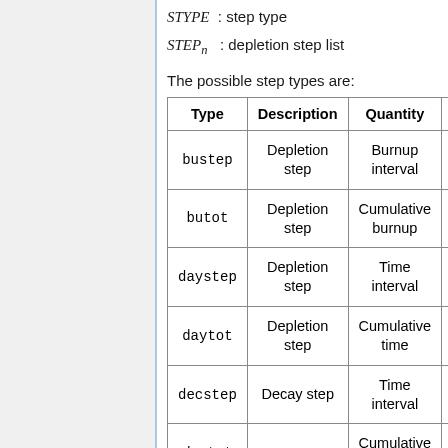STYPE : step type
STEPn : depletion step list
The possible step types are:
| Type | Description | Quantity |  |
| --- | --- | --- | --- |
| bustep | Depletion step | Burnup interval | MW |
| butot | Depletion step | Cumulative burnup | MW |
| daystep | Depletion step | Time interval | d |
| daytot | Depletion step | Cumulative time | d |
| decstep | Decay step | Time interval | d |
| dectot | Decay step | Cumulative time | d |
|  | Activation | Time |  |